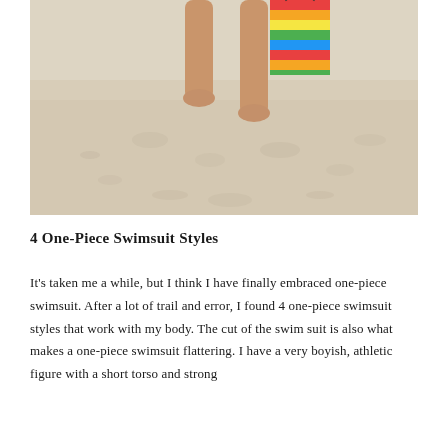[Figure (photo): Lower body of a person standing barefoot on a sandy beach, holding a colorful striped bag. Sandy beach with footprints visible.]
4 One-Piece Swimsuit Styles
It's taken me a while, but I think I have finally embraced one-piece swimsuit. After a lot of trail and error, I found 4 one-piece swimsuit styles that work with my body. The cut of the swim suit is also what makes a one-piece swimsuit flattering. I have a very boyish, athletic figure with a short torso and strong